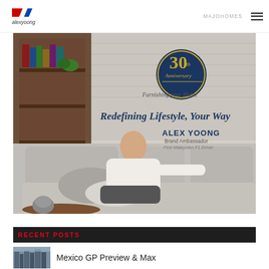alexyoong | MAJOHOMES
[Figure (photo): Hero banner for Alex Yoong brand ambassador for MajoHomes 30th Anniversary. Man in white shirt sitting on a grey sofa in a living room with brick wall background. Text overlays: '30th Anniversary', 'Furnishing your Home', 'Redefining Lifestyle, Your Way', 'ALEX YOONG Brand Ambassador First Malaysian F1 Driver']
RECENT POSTS
Mexico GP Preview & Max